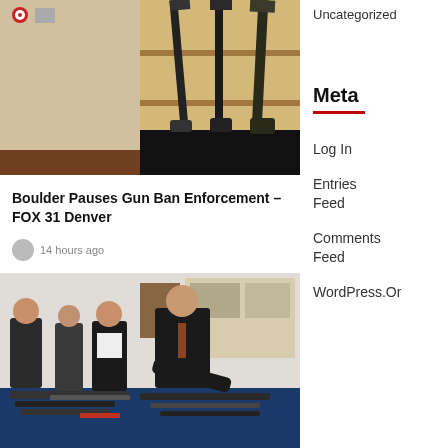[Figure (photo): Woman in gun shop with multiple rifles displayed on wooden rack]
Boulder Pauses Gun Ban Enforcement – FOX 31 Denver
14 hours ago
[Figure (photo): Officials examining firearms laid out on a table at a press event]
Uncategorized
Meta
Log In
Entries Feed
Comments Feed
WordPress.Or